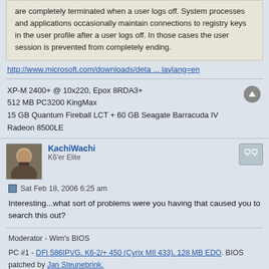are completely terminated when a user logs off. System processes and applications occasionally maintain connections to registry keys in the user profile after a user logs off. In those cases the user session is prevented from completely ending.
http://www.microsoft.com/downloads/deta ... laylang=en
XP-M 2400+ @ 10x220, Epox 8RDA3+
512 MB PC3200 KingMax
15 GB Quantum Fireball LCT + 60 GB Seagate Barracuda IV
Radeon 8500LE
KachiWachi
K6'er Elite
Sat Feb 18, 2006 6:25 am
Interesting...what sort of problems were you having that caused you to search this out?
Moderator - Wim's BIOS
PC #1 - DFI 586IPVG, K6-2/+ 450 (Cyrix MII 433), 128 MB EDO. BIOS patched by Jan Steunebrink.
PC #2 -